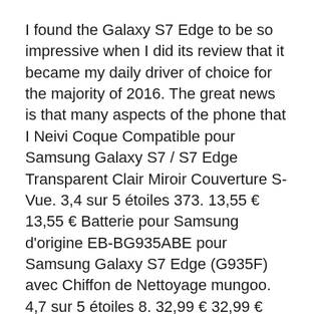I found the Galaxy S7 Edge to be so impressive when I did its review that it became my daily driver of choice for the majority of 2016. The great news is that many aspects of the phone that I Neivi Coque Compatible pour Samsung Galaxy S7 / S7 Edge Transparent Clair Miroir Couverture S-Vue. 3,4 sur 5 étoiles 373. 13,55 € 13,55 € Batterie pour Samsung d'origine EB-BG935ABE pour Samsung Galaxy S7 Edge (G935F) avec Chiffon de Nettoyage mungoo. 4,7 sur 5 étoiles 8. 32,99 € 32,99 € Recevez-le mercredi 29 janvier. Livraison GRATUITE par Amazon. SAMSUNG GALAXY A40 - Smartphone
I found the Galaxy S7 Edge to be so impressive when I did its review that it became my daily